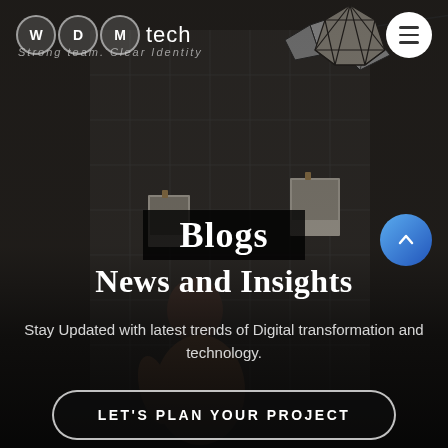[Figure (photo): Dark moody background showing a person sitting at a desk viewed from behind, with a grid wall board behind them displaying pinned photos, and a geometric pendant lamp above. Dark overlay applied.]
WDMtech — Strong team. Clear Identity
Blogs
News and Insights
Stay Updated with latest trends of Digital transformation and technology.
LET'S PLAN YOUR PROJECT